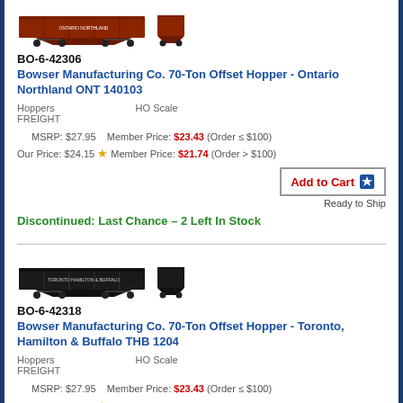[Figure (photo): Model train hopper car product image - brown/red color, two views (main side and small end view)]
BO-6-42306
Bowser Manufacturing Co. 70-Ton Offset Hopper - Ontario Northland ONT 140103
Hoppers   HO Scale
FREIGHT
MSRP: $27.95 | Member Price: $23.43 (Order ≤ $100)
Our Price: $24.15 ★ Member Price: $21.74 (Order > $100)
Add to Cart ✦
Ready to Ship
Discontinued: Last Chance – 2 Left In Stock
[Figure (photo): Model train hopper car product image - black color, two views (main side and small end view)]
BO-6-42318
Bowser Manufacturing Co. 70-Ton Offset Hopper - Toronto, Hamilton & Buffalo THB 1204
Hoppers   HO Scale
FREIGHT
MSRP: $27.95 | Member Price: $23.43 (Order ≤ $100)
Our Price: $24.15 ★ Member Price: $21.74 (Order > $100)
Add to Cart ✦